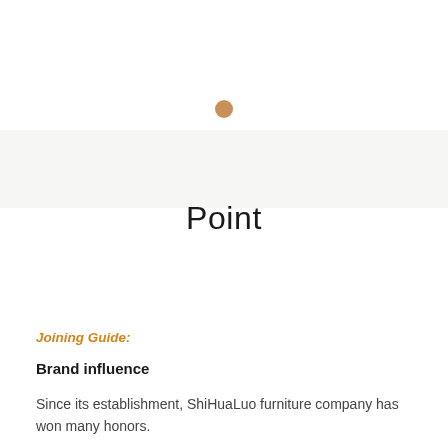[Figure (other): Small tan/brown filled circle dot, centered near top of page, above a light gray banner area]
Point
Joining Guide:
Brand influence
Since its establishment, ShiHuaLuo furniture company has won many honors.